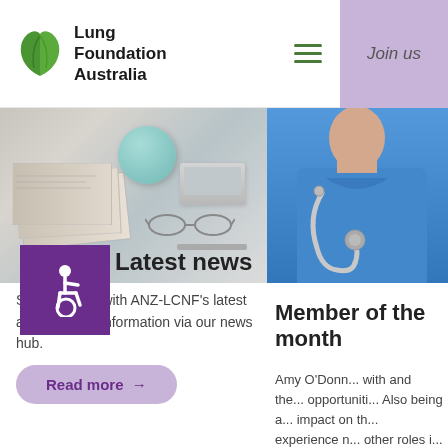Lung Foundation Australia — Join us
[Figure (photo): Photo of stacked newspapers, a teal/mint mug, glasses, and a laptop on a desk]
[Figure (photo): Photo of a doctor or nurse in blue scrubs with a stethoscope]
[Figure (illustration): Purple square with white wheelchair accessibility icon]
Latest news
Stay updated with ANZ-LCNF's latest activities and information via our news hub.
Read more →
Member of the month
Amy O'Donn... with and the... opportuniti... Also being a... impact on th... experience n... other roles i...